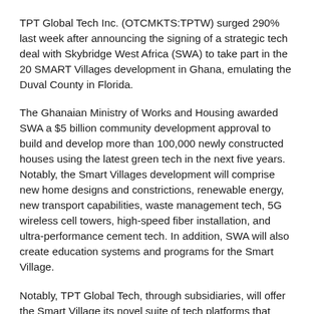TPT Global Tech Inc. (OTCMKTS:TPTW) surged 290% last week after announcing the signing of a strategic tech deal with Skybridge West Africa (SWA) to take part in the 20 SMART Villages development in Ghana, emulating the Duval County in Florida.
The Ghanaian Ministry of Works and Housing awarded SWA a $5 billion community development approval to build and develop more than 100,000 newly constructed houses using the latest green tech in the next five years. Notably, the Smart Villages development will comprise new home designs and constrictions, renewable energy, new transport capabilities, waste management tech, 5G wireless cell towers, high-speed fiber installation, and ultra-performance cement tech. In addition, SWA will also create education systems and programs for the Smart Village.
Notably, TPT Global Tech, through subsidiaries, will offer the Smart Village its novel suite of tech platforms that include QuikPASS and QuickLABS medical testing and validations